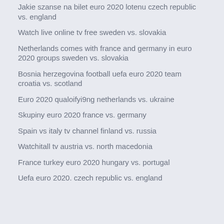Jakie szanse na bilet euro 2020 lotenu czech republic vs. england
Watch live online tv free sweden vs. slovakia
Netherlands comes with france and germany in euro 2020 groups sweden vs. slovakia
Bosnia herzegovina football uefa euro 2020 team croatia vs. scotland
Euro 2020 qualoifyi9ng netherlands vs. ukraine
Skupiny euro 2020 france vs. germany
Spain vs italy tv channel finland vs. russia
Watchitall tv austria vs. north macedonia
France turkey euro 2020 hungary vs. portugal
Uefa euro 2020. czech republic vs. england